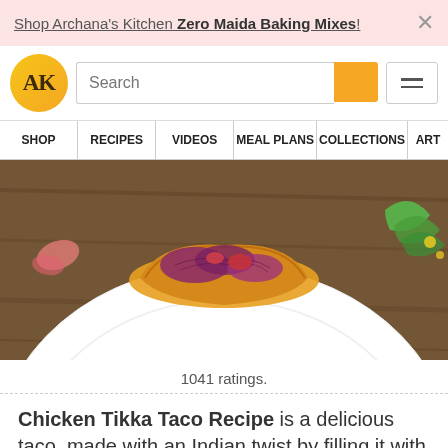Shop Archana's Kitchen Zero Maida Baking Mixes!
[Figure (logo): Archana's Kitchen logo — orange circle with AK text]
1041 ratings.
[Figure (photo): Close-up of a Chicken Tikka Taco on a white plate with purple cabbage and garnish on a wooden surface]
Chicken Tikka Taco Recipe is a delicious taco, made with an Indian twist by filling it with a masaledar chicken tikka along with refried beans, a